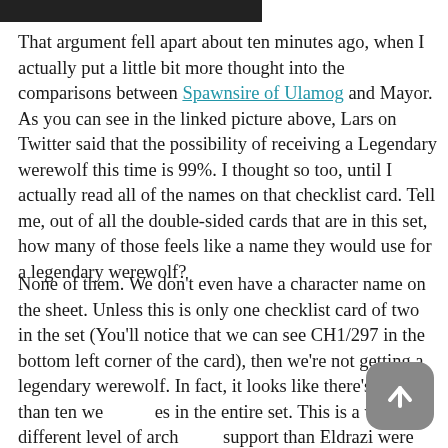[Figure (photo): Partial dark image strip at the top of the page]
That argument fell apart about ten minutes ago, when I actually put a little bit more thought into the comparisons between Spawnsire of Ulamog and Mayor. As you can see in the linked picture above, Lars on Twitter said that the possibility of receiving a Legendary werewolf this time is 99%. I thought so too, until I actually read all of the names on that checklist card. Tell me, out of all the double-sided cards that are in this set, how many of those feels like a name they would use for a legendary werewolf?
None of them. We don't even have a character name on the sheet. Unless this is only one checklist card of two in the set (You'll notice that we can see CH1/297 in the bottom left corner of the card), then we're not getting a legendary werewolf. In fact, it looks like there's less than ten werewolves in the entire set. This is a whole different level of archetype support than Eldrazi were receiving in Battle for Zendikar. None